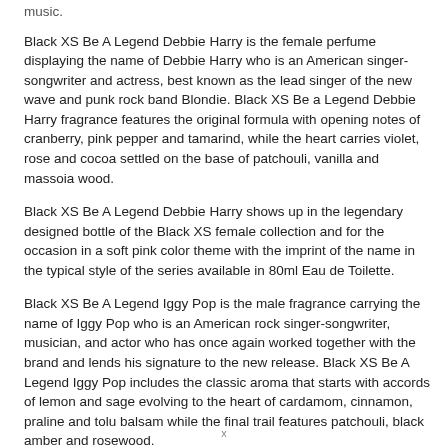music.
Black XS Be A Legend Debbie Harry is the female perfume displaying the name of Debbie Harry who is an American singer-songwriter and actress, best known as the lead singer of the new wave and punk rock band Blondie. Black XS Be a Legend Debbie Harry fragrance features the original formula with opening notes of cranberry, pink pepper and tamarind, while the heart carries violet, rose and cocoa settled on the base of patchouli, vanilla and massoia wood.
Black XS Be A Legend Debbie Harry shows up in the legendary designed bottle of the Black XS female collection and for the occasion in a soft pink color theme with the imprint of the name in the typical style of the series available in 80ml Eau de Toilette.
Black XS Be A Legend Iggy Pop is the male fragrance carrying the name of Iggy Pop who is an American rock singer-songwriter, musician, and actor who has once again worked together with the brand and lends his signature to the new release. Black XS Be A Legend Iggy Pop includes the classic aroma that starts with accords of lemon and sage evolving to the heart of cardamom, cinnamon, praline and tolu balsam while the final trail features patchouli, black amber and rosewood.
x